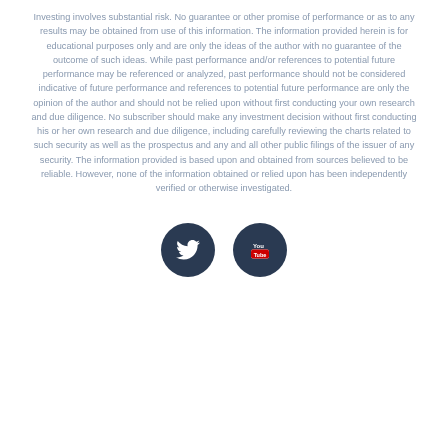Investing involves substantial risk. No guarantee or other promise of performance or as to any results may be obtained from use of this information. The information provided herein is for educational purposes only and are only the ideas of the author with no guarantee of the outcome of such ideas. While past performance and/or references to potential future performance may be referenced or analyzed, past performance should not be considered indicative of future performance and references to potential future performance are only the opinion of the author and should not be relied upon without first conducting your own research and due diligence. No subscriber should make any investment decision without first conducting his or her own research and due diligence, including carefully reviewing the charts related to such security as well as the prospectus and any and all other public filings of the issuer of any security. The information provided is based upon and obtained from sources believed to be reliable. However, none of the information obtained or relied upon has been independently verified or otherwise investigated.
[Figure (other): Two social media icons: Twitter bird icon and YouTube icon, both in dark navy circular buttons]